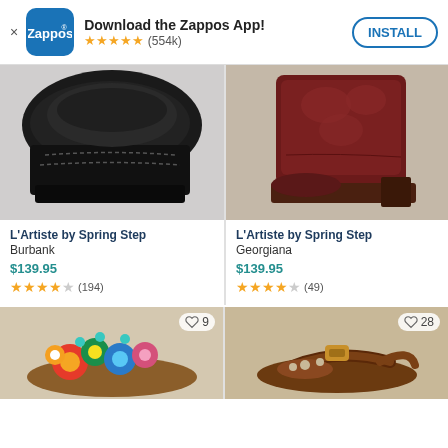Download the Zappos App! ★★★★★ (554k) INSTALL
[Figure (photo): L'Artiste by Spring Step Burbank - black clog shoe, close-up top-down view]
L'Artiste by Spring Step
Burbank
$139.95
★★★★☆ (194)
[Figure (photo): L'Artiste by Spring Step Georgiana - dark burgundy western boot with embossed leather detail]
L'Artiste by Spring Step
Georgiana
$139.95
★★★★☆ (49)
[Figure (photo): Colorful floral sandal with teal and multicolor flower embellishments, partial view. Wishlist: 9]
[Figure (photo): Brown leather slingback sandal with ornate buckle detail, partial view. Wishlist: 28]